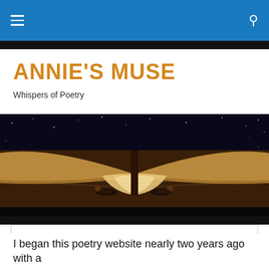Annie's Muse — navigation bar with hamburger menu and search icon
ANNIE'S MUSE
Whispers of Poetry
[Figure (photo): Two people lying inside an open giant book, with a starry night sky background. Warm golden light emanates from the book pages.]
Privacy & Cookies: This site uses cookies. By continuing to use this website, you agree to their use.
To find out more, including how to control cookies, see here: Cookie Policy

Close and accept
I began this poetry website nearly two years ago with a